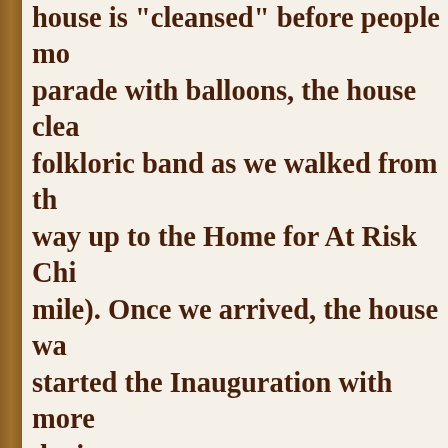house is "cleansed" before people mo parade with balloons, the house clea folkloric band as we walked from th way up to the Home for At Risk Chi mile). Once we arrived, the house wa started the Inauguration with more during our ceremony to say a specia and Kristina Amundsen as they we missionary service and have help us agriculture. Many people came fro parts of Ecuador as well as from the Sweden to be a part of Saturday's a delicious meal of roasted pork and t